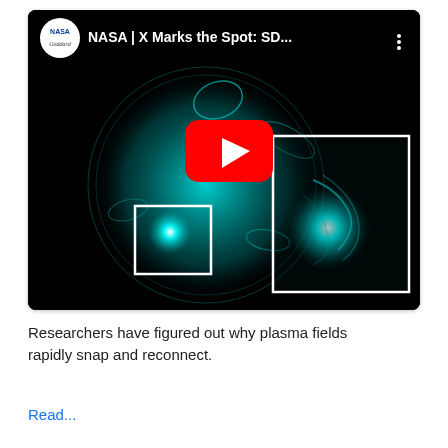[Figure (screenshot): YouTube video thumbnail showing NASA Goddard video titled 'NASA | X Marks the Spot: SD...' featuring a teal/cyan false-color image of the sun with a large white-outlined rectangle showing a solar flare zoom-in, a smaller white-outlined rectangle at lower left, and a red YouTube play button in the center. Black background.]
Researchers have figured out why plasma fields rapidly snap and reconnect.
Read...